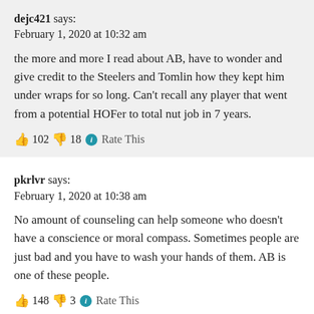dejc421 says:
February 1, 2020 at 10:32 am
the more and more I read about AB, have to wonder and give credit to the Steelers and Tomlin how they kept him under wraps for so long. Can't recall any player that went from a potential HOFer to total nut job in 7 years.
👍 102 👎 18 ℹ Rate This
pkrlvr says:
February 1, 2020 at 10:38 am
No amount of counseling can help someone who doesn't have a conscience or moral compass. Sometimes people are just bad and you have to wash your hands of them. AB is one of these people.
👍 148 👎 3 ℹ Rate This